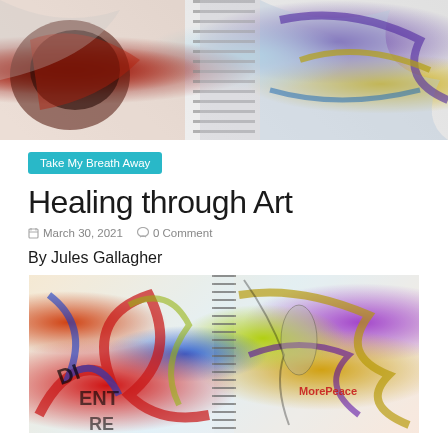[Figure (photo): Top banner photo showing colorful art journals with mixed media, spiral binding visible in center, red and multicolor paint strokes]
Take My Breath Away
Healing through Art
March 30, 2021   0 Comment
By Jules Gallagher
[Figure (photo): Bottom photo showing open art journal spread with colorful collage and paint, words visible including 'MorePeace', spiral binding in center]